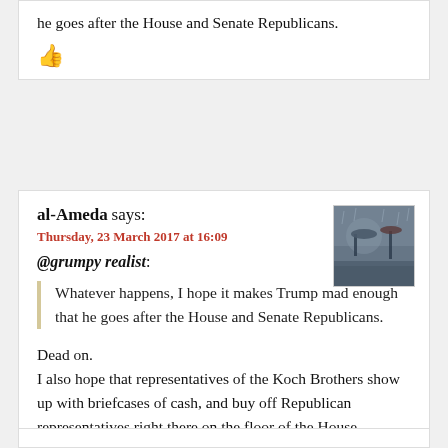he goes after the House and Senate Republicans.
👍
al-Ameda says:
Thursday, 23 March 2017 at 16:09
@grumpy realist:
Whatever happens, I hope it makes Trump mad enough that he goes after the House and Senate Republicans.
Dead on.
I also hope that representatives of the Koch Brothers show up with briefcases of cash, and buy off Republican representatives right there on the floor of the House.
👍